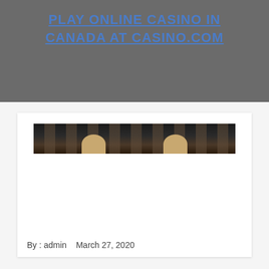PLAY ONLINE CASINO IN CANADA AT CASINO.COM
[Figure (photo): Photograph of a casino interior showing slot machines or gaming tables viewed from above, with dark tones and decorative arch elements visible.]
By : admin   March 27, 2020